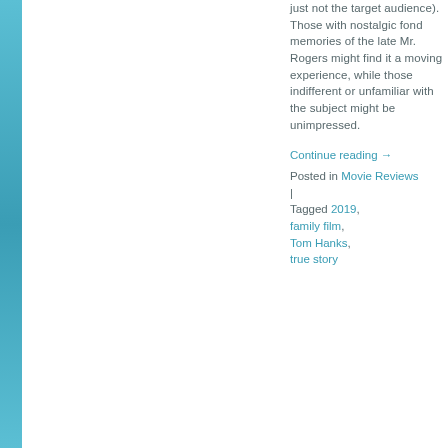just not the target audience). Those with nostalgic fond memories of the late Mr. Rogers might find it a moving experience, while those indifferent or unfamiliar with the subject might be unimpressed.
Continue reading →
Posted in Movie Reviews | Tagged 2019, family film, Tom Hanks, true story